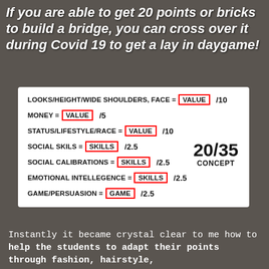If you are able to get 20 points or bricks to build a bridge, you can cross over it during Covid 19 to get a lay in daygame!
LOOKS/HEIGHT/WIDE SHOULDERS, FACE = VALUE /10
MONEY = VALUE /5
STATUS/LIFESTYLE/RACE = VALUE /10
SOCIAL SKILS = SKILLS /2.5
SOCIAL CALIBRATIONS = SKILLS /2.5
EMOTIONAL INTELLEGENCE = SKILLS /2.5
GAME/PERSUASION = GAME /2.5
20/35 CONCEPT
Instantly it became crystal clear to me how to help the students to adapt their points through fashion, hairstyle,